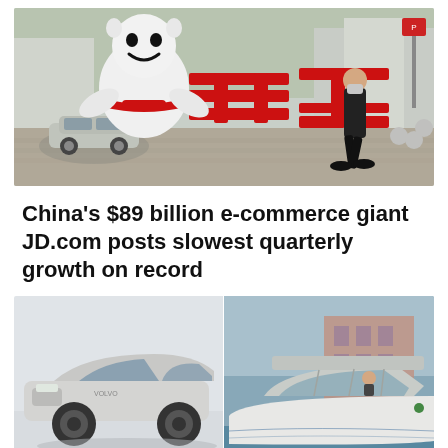[Figure (photo): Outdoor scene showing a large white inflatable mascot (smiling character with a red scarf) next to large red Chinese characters forming the JD.com logo sculpture. A person wearing a face mask and dark clothing walks past on a paved street. Cars and urban street elements visible in background.]
China's $89 billion e-commerce giant JD.com posts slowest quarterly growth on record
[Figure (photo): Split image: left side shows a sleek silver/white electric SUV concept car (Volvo-style, modern design) in a studio or showroom setting. Right side shows a futuristic white water taxi or electric boat with large curved windshield, moored in what appears to be a canal or harbor with buildings visible in background.]